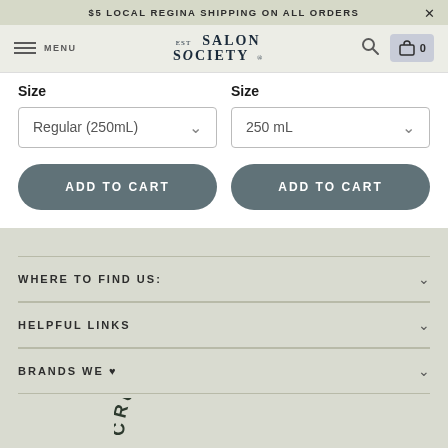$5 LOCAL REGINA SHIPPING ON ALL ORDERS
[Figure (screenshot): Salon Society navigation bar with hamburger menu, logo, search icon, and cart icon]
Size
Size
Regular (250mL)
250 mL
ADD TO CART
ADD TO CART
WHERE TO FIND US:
HELPFUL LINKS
BRANDS WE ♥
[Figure (other): Cruelty Free badge arc text reading CRUELTY FRE...]